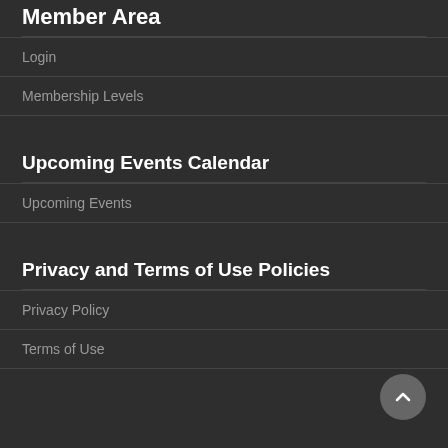Member Area
Login
Membership Levels
Upcoming Events Calendar
Upcoming Events
Privacy and Terms of Use Policies
Privacy Policy
Terms of Use
[Figure (other): Scroll to top button with upward chevron arrow]